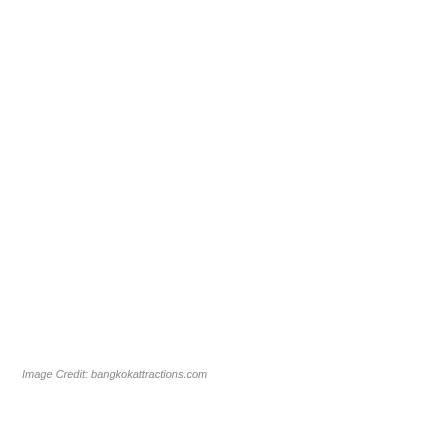Image Credit: bangkokattractions.com